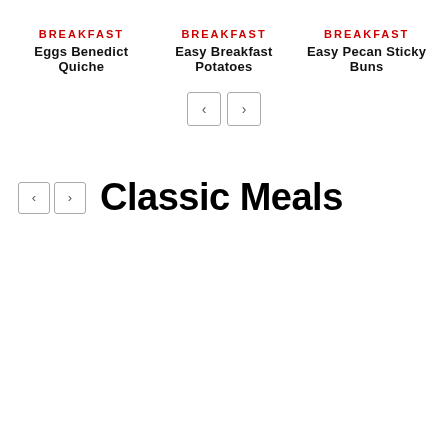BREAKFAST
Eggs Benedict Quiche
BREAKFAST
Easy Breakfast Potatoes
BREAKFAST
Easy Pecan Sticky Buns
[Figure (screenshot): Navigation arrows (prev/next) for carousel]
Classic Meals